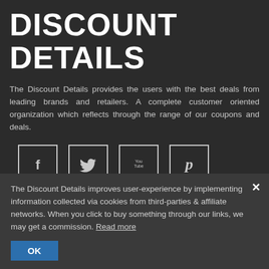DISCOUNT DETAILS
The Discount Details provides the users with the best deals from leading brands and retailers. A complete customer oriented organization which reflects through the range of our coupons and deals.
[Figure (infographic): Four social media icon buttons in a row: Facebook (f), Twitter (bird), YouTube (play icon with 'You Tube' text), Pinterest (p)]
ABOUT
The Discount Details improves user-experience by implementing information collected via cookies from third-parties & affiliate networks. When you click to buy something through our links, we may get a commission. Read more
OK